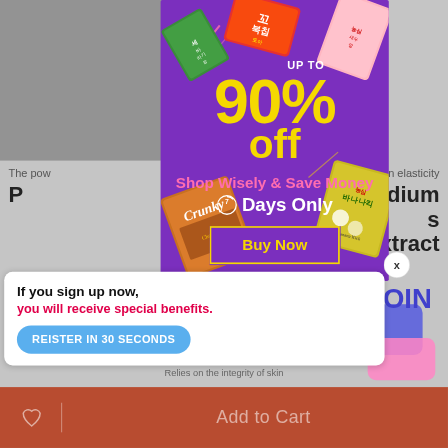[Figure (screenshot): E-commerce webpage screenshot showing a promotional popup ad for an Asian snack shop with purple background displaying '90% UP TO off', 'Shop Wisely & Save Money', '7 Days Only' with a clock icon, and a 'Buy Now' button with yellow border. Korean snack food packages (Crunky chocolate, Banana-kick chips, and other items) are displayed around the edges. A white sign-up banner appears below saying 'If you sign up now, you will receive special benefits.' with a 'REISTER IN 30 SECONDS' blue button. A red/terracotta bottom bar shows 'Add to Cart' with a heart icon.]
UP TO
90% off
Shop Wisely & Save Money
7 Days Only
Buy Now
If you sign up now, you will receive special benefits.
REISTER IN 30 SECONDS
Add to Cart